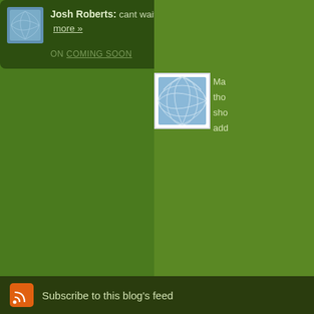Josh Roberts: cant wait for the new blog!!!... more »
ON COMING SOON
[Figure (photo): Blue geometric avatar image on right panel]
Ma... tho... sho... add...
The comments to t...
P...
Great Ideas I love ... make me think. Yes... be at the North Poi...
Subscribe to this blog's feed